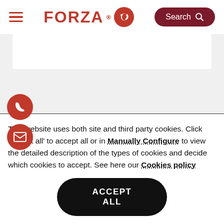FORZA [logo] Search
[Figure (logo): Forza logo with red rhino icon and FORZA text in red, hamburger menu icon on left, Search button on right with dark red pill background]
This website uses both site and third party cookies. Click 'Accept all' to accept all or in Manually Configure to view the detailed description of the types of cookies and decide which cookies to accept. See here our Cookies policy
ACCEPT ALL